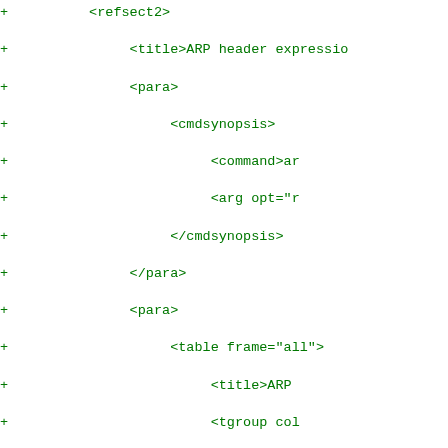Diff/patch code block showing XML additions with + markers, containing refsect2, title, para, cmdsynopsis, command, arg, table frame=all, title ARP, tgroup col, th, /t, tb elements